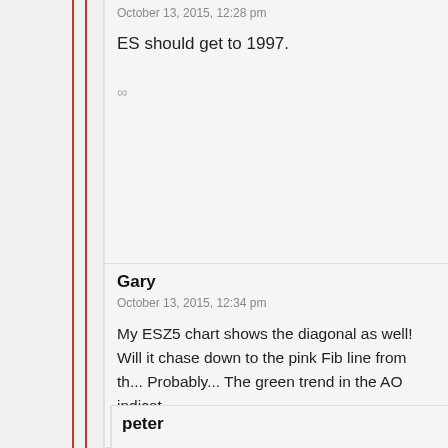October 13, 2015, 12:28 pm
ES should get to 1997.
∞
Gary
October 13, 2015, 12:34 pm
My ESZ5 chart shows the diagonal as well! Will it chase down to the pink Fib line from th... Probably... The green trend in the AO indicat...
http://www.screencast.com/t/w8N1SEcIKNv
∞
peter